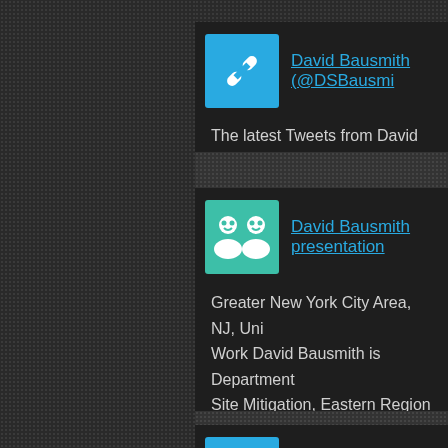[Figure (screenshot): Search result card with blue link icon for David Bausmith Twitter profile (@DSBausmith)]
The latest Tweets from David Bausmith (@DSBausmith). David Bausmith. Pri
[Figure (screenshot): Search result card with teal people icon for David Bausmith presentation (LinkedIn profile)]
Greater New York City Area, NJ, Uni Work David Bausmith is Department Site Mitigation, Eastern Region at AB Consultants; Industry Real ...
[Figure (screenshot): Search result card with blue link icon for Pinterest | David Bausmith]